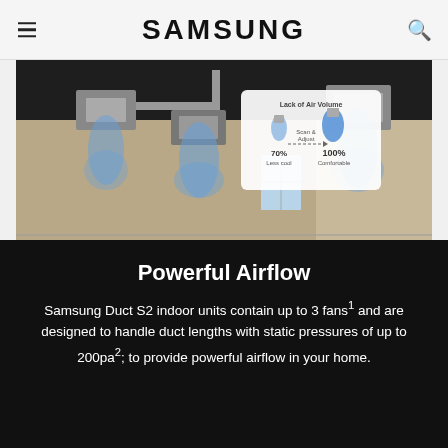SAMSUNG
[Figure (photo): Samsung Duct S2 ceiling-mounted air conditioning units installed in a room with dark ceiling, showing airflow visualization overlay graphic with '70% Less cool' to '100% Comfortable' scale and 'Lack of Air Volume / Scan & Adjust' labels]
Powerful Airflow
Samsung Duct S2 indoor units contain up to 3 fans¹ and are designed to handle duct lengths with static pressures of up to 200pa²; to provide powerful airflow in your home.